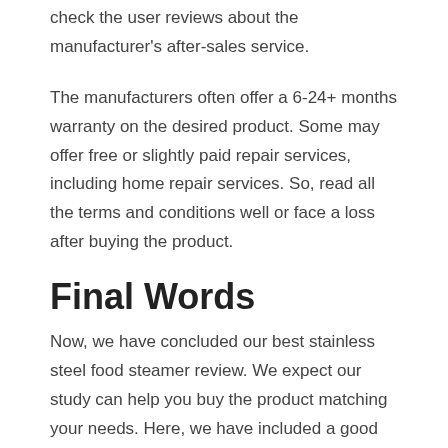check the user reviews about the manufacturer's after-sales service.
The manufacturers often offer a 6-24+ months warranty on the desired product. Some may offer free or slightly paid repair services, including home repair services. So, read all the terms and conditions well or face a loss after buying the product.
Final Words
Now, we have concluded our best stainless steel food steamer review. We expect our study can help you buy the product matching your needs. Here, we have included a good explanation of applications, features, user reviews, pros, and cons so that you get top-quality products.
Please, feel free to share what product has caught your eye. We hope you will buy any of our selected items as we have already